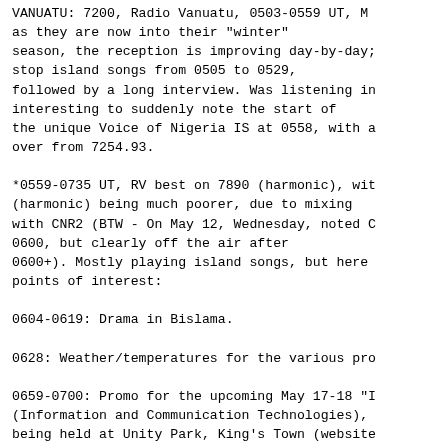VANUATU: 7200, Radio Vanuatu, 0503-0559 UT, as they are now into their "winter" season, the reception is improving day-by-day; stop island songs from 0505 to 0529, followed by a long interview. Was listening in interesting to suddenly note the start of the unique Voice of Nigeria IS at 0558, with a over from 7254.93.

*0559-0735 UT, RV best on 7890 (harmonic), wit (harmonic) being much poorer, due to mixing with CNR2 (BTW - On May 12, Wednesday, noted C 0600, but clearly off the air after 0600+). Mostly playing island songs, but here points of interest:

0604-0619: Drama in Bislama.

0628: Weather/temperatures for the various pro

0659-0700: Promo for the upcoming May 17-18 "I (Information and Communication Technologies), being held at Unity Park, King's Town (website https://ictdays.gov.vu/ ).

0700: Rare SA with frequencies (100 FM, 1125 M time check ("6 o'clock") and into the news ti

My audio from today, with two minutes of islan